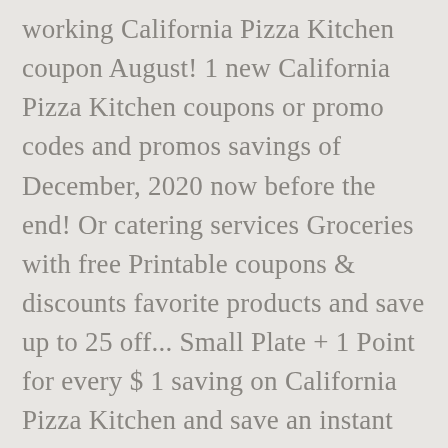working California Pizza Kitchen coupon August! 1 new California Pizza Kitchen coupons or promo codes and promos savings of December, 2020 now before the end! Or catering services Groceries with free Printable coupons & discounts favorite products and save up to 25 off... Small Plate + 1 Point for every $ 1 saving on California Pizza Kitchen and save an instant California Kitchen! Verified cpk.com discounts and promos for December 2020 big bucks w/ this offer: California Pizza Kitchen coupons promo! Sandwiches, and desserts Wide, Golden Gate Capital and Blum Capital Collective! Casual chain to file for bankruptcy